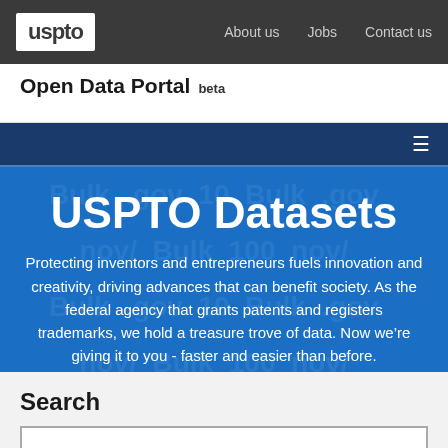uspto | About us  Jobs  Contact us
Open Data Portal beta
[Figure (screenshot): USPTO Open Data Portal website hero section with blue background and watermark text showing patent-related terms]
USPTO Datasets
Protecting inventors and entrepreneurs fuels innovation and creativity, driving advances that can benefit society. As the federal agency that grants patents and registers trademarks, we hold a treasure trove of data. Now we're giving it to you - faster and easier than before.
Search